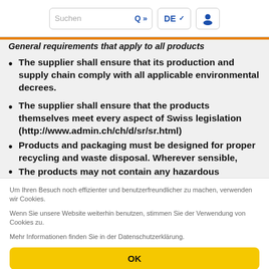Suchen | DE | [user icon]
General requirements that apply to all products
The supplier shall ensure that its production and supply chain comply with all applicable environmental decrees.
The supplier shall ensure that the products themselves meet every aspect of Swiss legislation (http://www.admin.ch/ch/d/sr/sr.html)
Products and packaging must be designed for proper recycling and waste disposal. Wherever sensible, recycling is preferred
The products may not contain any hazardous materials and
Um Ihren Besuch noch effizienter und benutzerfreundlicher zu machen, verwenden wir Cookies.
Wenn Sie unsere Website weiterhin benutzen, stimmen Sie der Verwendung von Cookies zu.
Mehr Informationen finden Sie in der Datenschutzerklärung.
OK